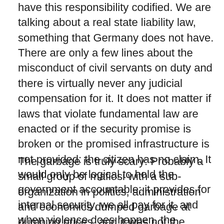have this responsibility codified. We are talking about a real state liability law, something that Germany does not have. There are only a few lines about the misconduct of civil servants on duty and there is virtually never any judicial compensation for it. It does not matter if laws that violate fundamental law are enacted or if the security promise is broken or the promised infrastructure is not provided: the citizen has no claim. It would only be logical to hold the government accountable: it provides for internal security, we all pay for it, and when violence does happen, the government should compensate for it. If I buy a car and it does not drive, then it is not done with a shrug. I did what I could do (written to a party, so please should think about it) but nothing will happen.
The garbage is truly scary: Probably a small group of mafiosi with a sub-organization in politics, administration and economics dumped garbage at dumping prices, and it was not the normal sort but the one we are quarreling over